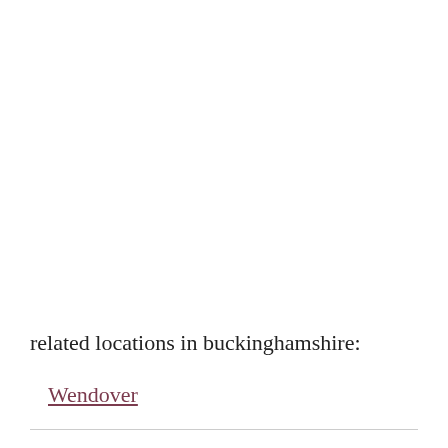related locations in buckinghamshire:
Wendover